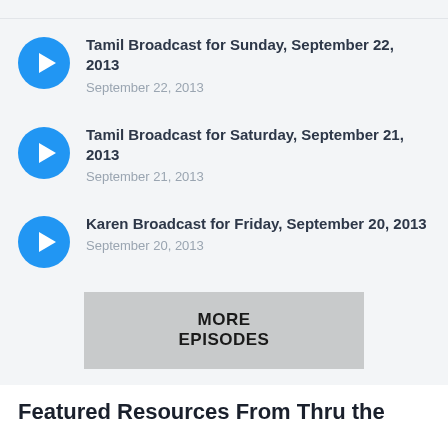Tamil Broadcast for Sunday, September 22, 2013 — September 22, 2013
Tamil Broadcast for Saturday, September 21, 2013 — September 21, 2013
Karen Broadcast for Friday, September 20, 2013 — September 20, 2013
MORE EPISODES
Featured Resources From Thru the